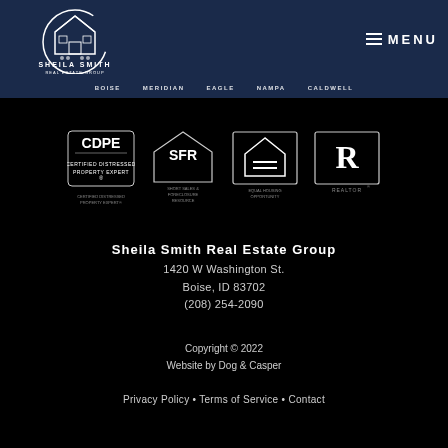[Figure (logo): Sheila Smith Real Estate Group logo - white house icon with text on navy background]
MENU
BOISE  MERIDIAN  EAGLE  NAMPA  CALDWELL
[Figure (logo): Four certification/affiliation logos: CDPE Certified Distressed Property Expert, SFR Short Sales & Foreclosure Resource, Equal Housing Opportunity, REALTOR]
Sheila Smith Real Estate Group
1420 W Washington St.
Boise, ID 83702
(208) 254-2090
Copyright © 2022
Website by Dog & Casper
Privacy Policy • Terms of Service • Contact